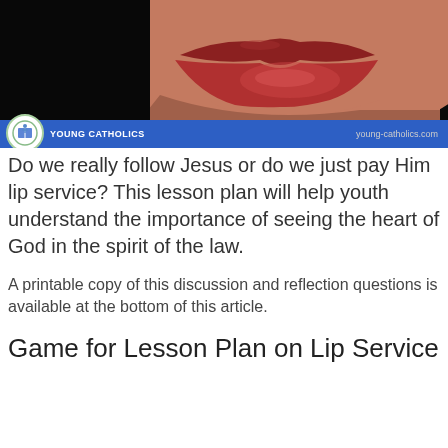[Figure (photo): Close-up photo of lips against a dark background, with a Young Catholics logo and blue bar overlay at the bottom showing 'YOUNG CATHOLICS' and 'young-catholics.com']
Do we really follow Jesus or do we just pay Him lip service? This lesson plan will help youth understand the importance of seeing the heart of God in the spirit of the law.
A printable copy of this discussion and reflection questions is available at the bottom of this article.
Game for Lesson Plan on Lip Service